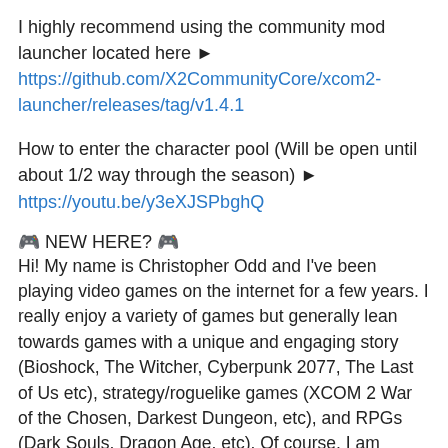I highly recommend using the community mod launcher located here ► https://github.com/X2CommunityCore/xcom2-launcher/releases/tag/v1.4.1
How to enter the character pool (Will be open until about 1/2 way through the season) ► https://youtu.be/y3eXJSPbghQ
🎮 NEW HERE? 🎮
Hi! My name is Christopher Odd and I've been playing video games on the internet for a few years. I really enjoy a variety of games but generally lean towards games with a unique and engaging story (Bioshock, The Witcher, Cyberpunk 2077, The Last of Us etc), strategy/roguelike games (XCOM 2 War of the Chosen, Darkest Dungeon, etc), and RPGs (Dark Souls, Dragon Age, etc). Of course, I am always looking for great indie games too!